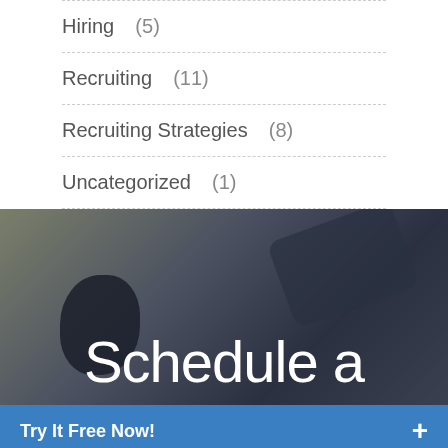Hiring (5)
Recruiting (11)
Recruiting Strategies (8)
Uncategorized (1)
[Figure (photo): Blurred background photo of office/workspace with dark overlay, displaying large white text 'Schedule a']
Try It Free Now!